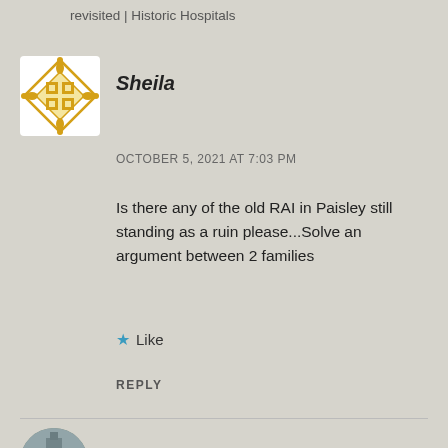revisited | Historic Hospitals
[Figure (illustration): Decorative geometric avatar icon with gold diamond and square pattern on white background]
Sheila
OCTOBER 5, 2021 AT 7:03 PM
Is there any of the old RAI in Paisley still standing as a ruin please...Solve an argument between 2 families
★ Like
REPLY
[Figure (photo): Circular profile photo showing a historic stone building/tower]
Harriet Richardson